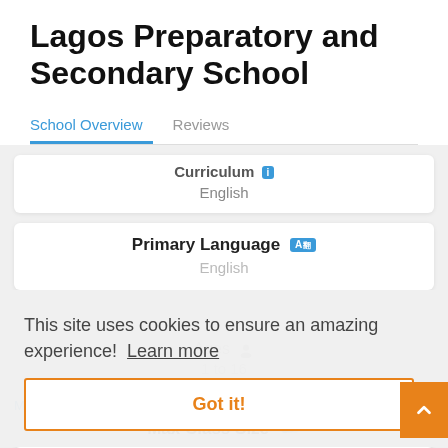Lagos Preparatory and Secondary School
School Overview
Reviews
Curriculum
English
Primary Language
English
This site uses cookies to ensure an amazing experience!  Learn more
Got it!
Ages
1 to 16
My Shortlist
Max Class Size